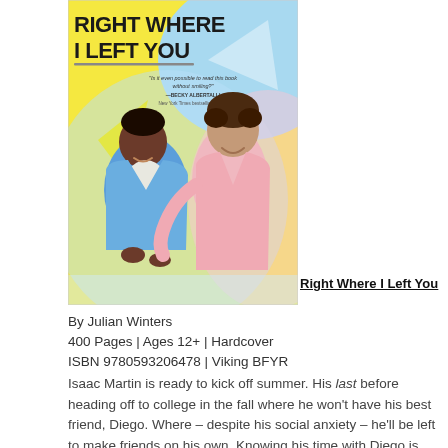[Figure (illustration): Book cover of 'Right Where I Left You' by Julian Winters. Shows two young men smiling — one in a blue jacket, one in a pink shirt — on a colorful yellow and blue illustrated background. Cover title text at top reads RIGHT WHERE I LEFT YOU with a small quote below.]
Right Where I Left You
By Julian Winters
400 Pages | Ages 12+ | Hardcover
ISBN 9780593206478 | Viking BFYR
Isaac Martin is ready to kick off summer. His last before heading off to college in the fall where he won't have his best friend, Diego. Where – despite his social anxiety – he'll be left to make friends on his own. Knowing his time with Diego is limited, Isaac enacts a foolproof